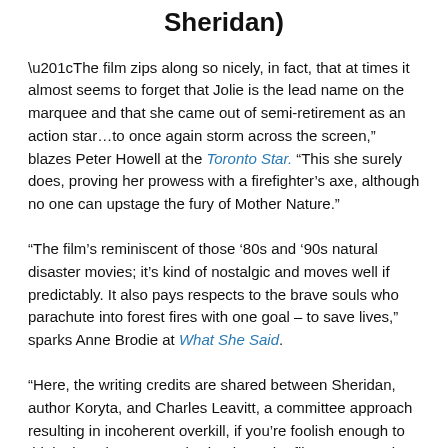Sheridan)
“The film zips along so nicely, in fact, that at times it almost seems to forget that Jolie is the lead name on the marquee and that she came out of semi-retirement as an action star…to once again storm across the screen,” blazes Peter Howell at the Toronto Star. “This she surely does, proving her prowess with a firefighter’s axe, although no one can upstage the fury of Mother Nature.”
“The film’s reminiscent of those ‘80s and ’90s natural disaster movies; it’s kind of nostalgic and moves well if predictably. It also pays respects to the brave souls who parachute into forest fires with one goal – to save lives,” sparks Anne Brodie at What She Said.
“Here, the writing credits are shared between Sheridan, author Koryta, and Charles Leavitt, a committee approach resulting in incoherent overkill, if you’re foolish enough to think about it. Fortunately, thanks to the film’s spectacular wide-screen aerial